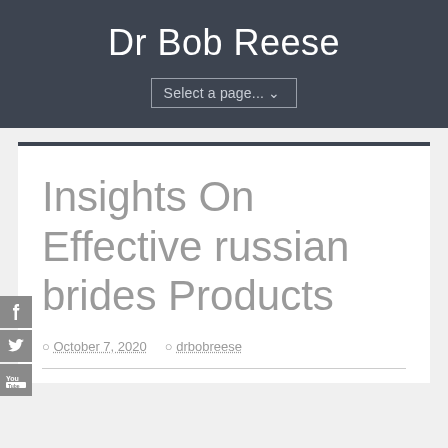Dr Bob Reese
[Figure (screenshot): Navigation dropdown selector labeled 'Select a page...' with chevron]
Insights On Effective russian brides Products
October 7, 2020   drbobreese
[Figure (other): Social media sidebar icons: Facebook, Twitter, YouTube]